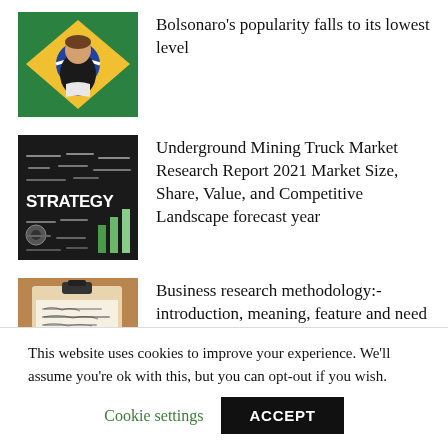[Figure (photo): Photo of Bolsonaro speaking in front of a Brazilian flag]
Bolsonaro’s popularity falls to its lowest level
[Figure (photo): Dark chalkboard with the word STRATEGY and a bar chart graphic]
Underground Mining Truck Market Research Report 2021 Market Size, Share, Value, and Competitive Landscape forecast year
[Figure (photo): Clipboard with handwritten notes on lined paper]
Business research methodology:- introduction, meaning, feature and need in hindi
This website uses cookies to improve your experience. We’ll assume you’re ok with this, but you can opt-out if you wish.
Cookie settings
ACCEPT